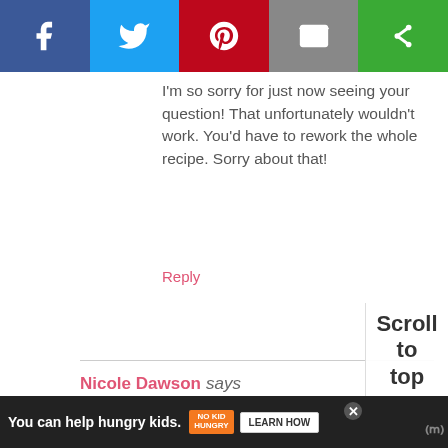[Figure (other): Social share bar with Facebook, Twitter, Pinterest, Email, and another share button]
I'm so sorry for just now seeing your question! That unfortunately wouldn't work. You'd have to rework the whole recipe. Sorry about that!
Reply
Nicole Dawson says
February 13, 2019 @ 4:36 pm
These chocolate cupcakes look yummy, I can see why they are a hit. We can't do eggs so I'll just have to keep coming back and drooling over the pics ! I can do the icing though and that is a MUST make.
[Figure (other): Advertisement bar: 'You can help hungry kids. No Kid Hungry. LEARN HOW']